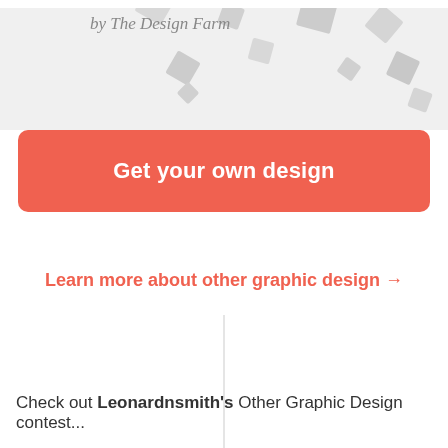[Figure (illustration): Decorative background with rotated grey squares on light grey background]
by The Design Farm
Get your own design
Learn more about other graphic design →
Check out Leonardnsmith's Other Graphic Design contest...